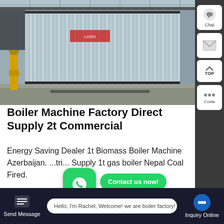[Figure (photo): Industrial boiler machine with corrugated metal panels in a factory setting]
Boiler Machine Factory Direct Supply 2t Commercial
Energy Saving Dealer 1t Biomass Boiler Machine Azerbaijan. ... Supply 1t gas boiler Nepal Coal Fired.
Hello, I'm Rachel, Welcome! we are boiler factory!
Send Message
Inquiry Online